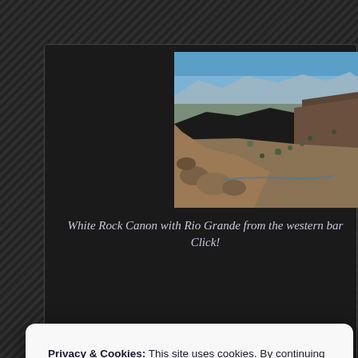[Figure (photo): Panoramic aerial/elevated photograph of White Rock Canon with Rio Grande visible below, showing desert canyon landscape with rocky terrain, sparse vegetation, and mountains in background under blue sky.]
White Rock Canon with Rio Grande from the western bar... Click!
Privacy & Cookies: This site uses cookies. By continuing to use this website, you agree to their use. To find out more, including how to control cookies, see here: Cookie Policy
Close and accept
The Rio Grande Rift is intersected in northern New...